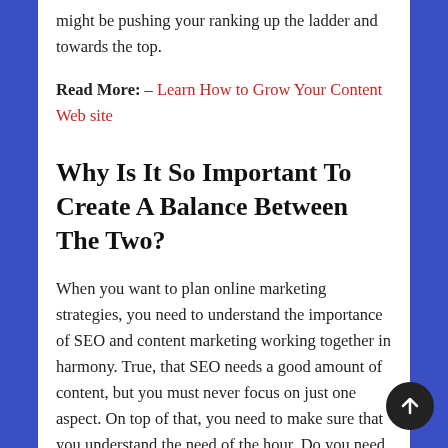might be pushing your ranking up the ladder and towards the top.
Read More: – Learn How to Grow Your Content Web site
Why Is It So Important To Create A Balance Between The Two?
When you want to plan online marketing strategies, you need to understand the importance of SEO and content marketing working together in harmony. True, that SEO needs a good amount of content, but you must never focus on just one aspect. On top of that, you need to make sure that you understand the need of the hour. Do you need blogging or a long form of